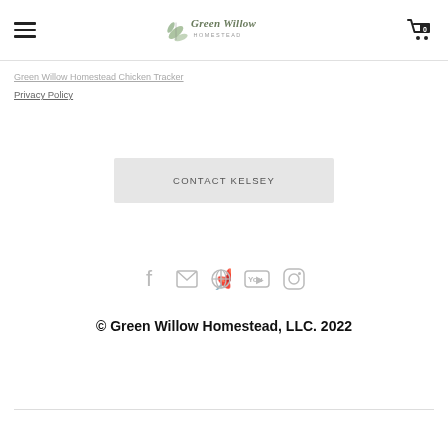Green Willow Homestead
Privacy Policy
CONTACT KELSEY
[Figure (illustration): Social media icons: Facebook, Email, Pinterest, YouTube, Instagram]
© Green Willow Homestead, LLC. 2022